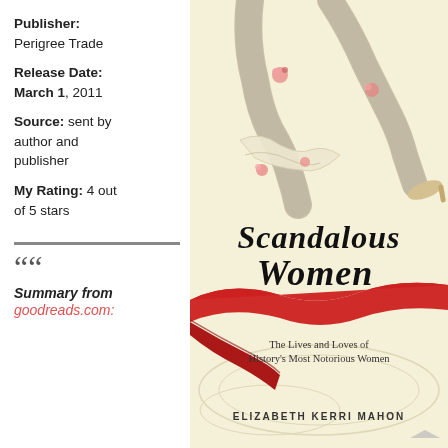Publisher: Perigree Trade
Release Date: March 1, 2011
Source: sent by author and publisher
My Rating: 4 out of 5 stars
“Summary from goodreads.com:
[Figure (illustration): Book cover of 'Scandalous Women: The Lives and Loves of History's Most Notorious Women' by Elizabeth Kerri Mahon. Cover shows illustrated woman's legs in stockings with flowers, with a red ribbon across the center, on a cream background. Title in script font.]